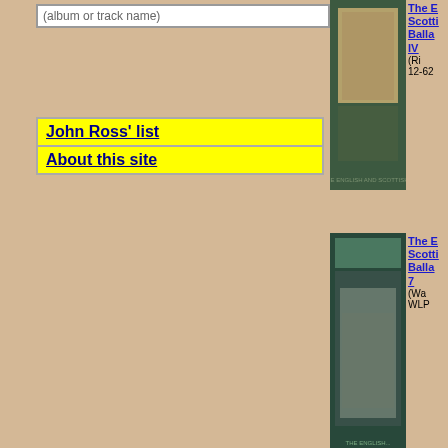(album or track name)
John Ross' list
About this site
[Figure (photo): Album cover for The English and Scottish Popular Ballads IV]
The English and Scottish Popular Ballads IV (Ri 12-62
[Figure (photo): Album cover for The English and Scottish Popular Ballads 7]
The English and Scottish Popular Ballads 7 (Wa WLP
[Figure (photo): Album cover for The Lost Harvest Vol.2]
The Lost Harvest Vol.2 704)
[Figure (photo): Album cover for The Lost Harvest Vol.2 (second entry)]
The Lost Harvest Vol.2 67)
Please, note, that these different versions of th